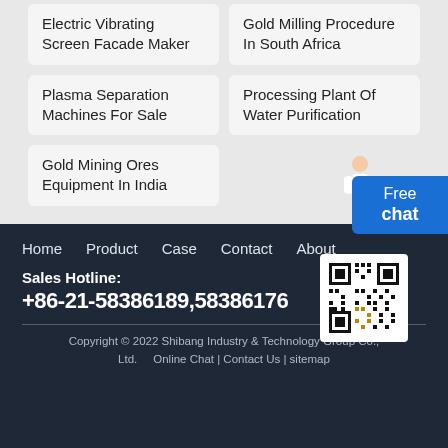Electric Vibrating Screen Facade Maker
Gold Milling Procedure In South Africa
Plasma Separation Machines For Sale
Processing Plant Of Water Purification
Gold Mining Ores Equipment In India
Free chat
Home   Product   Case   Contact   About
Sales Hotline:
+86-21-58386189,58386176
Copyright © 2022 Shibang Industry & Technology Group Co., Ltd.   Online Chat | Contact Us | sitemap